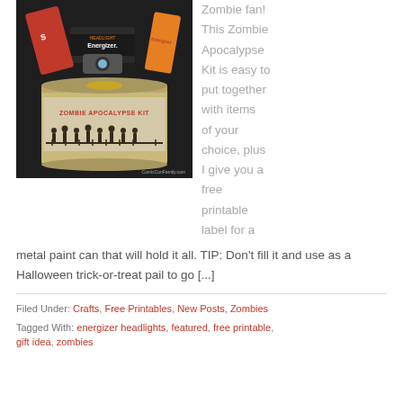[Figure (photo): A metal paint can labeled 'ZOMBIE APOCALYPSE KIT' filled with Energizer batteries, headlight, Skittles, and other snacks on a dark background. Photo credit: ComicConFamily.com]
Zombie fan! This Zombie Apocalypse Kit is easy to put together with items of your choice, plus I give you a free printable label for a metal paint can that will hold it all. TIP: Don't fill it and use as a Halloween trick-or-treat pail to go [...]
Filed Under: Crafts, Free Printables, New Posts, Zombies
Tagged With: energizer headlights, featured, free printable, gift idea, zombies